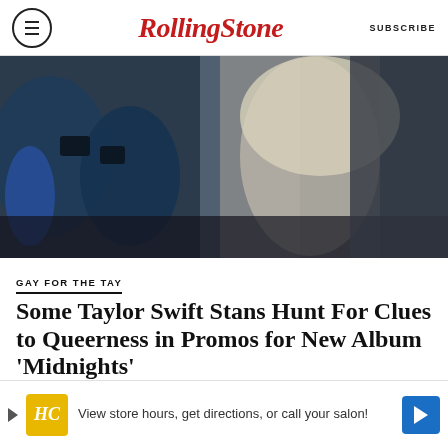RollingStone  SUBSCRIBE
[Figure (photo): Person in sparkly silver embellished outfit on a red carpet or event, surrounded by photographers in the background]
GAY FOR THE TAY
Some Taylor Swift Stans Hunt For Clues to Queerness in Promos for New Album 'Midnights'
BY CT JONES
[Figure (other): Advertisement banner: HC logo, text 'View store hours, get directions, or call your salon!' with blue arrow button]